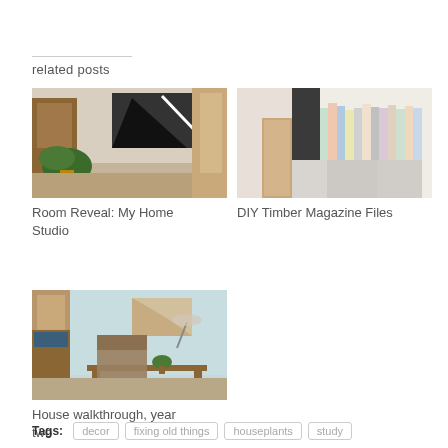related posts
[Figure (photo): Interior home studio room with plants, posters, and wooden furniture]
Room Reveal: My Home Studio
[Figure (photo): DIY timber magazine files with colorful magazines standing upright]
DIY Timber Magazine Files
[Figure (photo): Living room walkthrough with light blue walls, wooden furniture, and plants]
House walkthrough, year two
Tags: decor  fixing old things  houseplants  study